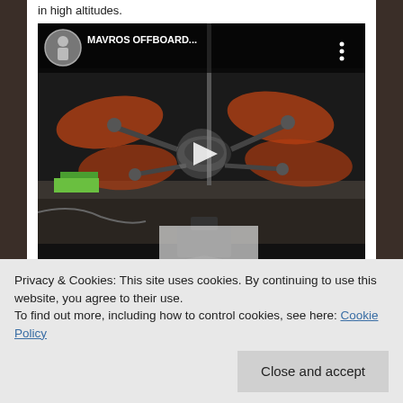in high altitudes.
[Figure (screenshot): YouTube video thumbnail showing a drone labeled 'MAVROS OFFBOARD...' with a play button overlay. The thumbnail shows a drone with red/orange spinning propellers against a dark background, with camera equipment visible in the foreground.]
Privacy & Cookies: This site uses cookies. By continuing to use this website, you agree to their use.
To find out more, including how to control cookies, see here: Cookie Policy
Close and accept